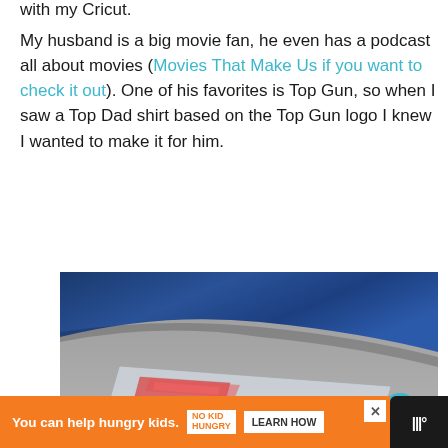with my Cricut.
My husband is a big movie fan, he even has a podcast all about movies (Movies That Make Us if you want to check it out). One of his favorites is Top Gun, so when I saw a Top Dad shirt based on the Top Gun logo I knew I wanted to make it for him.
[Figure (photo): Photo showing a folded dark navy blue shirt and a plastic bag containing red vinyl pieces on a gray surface, with a teal heart icon and number 1 badge overlay]
You can help hungry kids. NO KID HUNGRY LEARN HOW